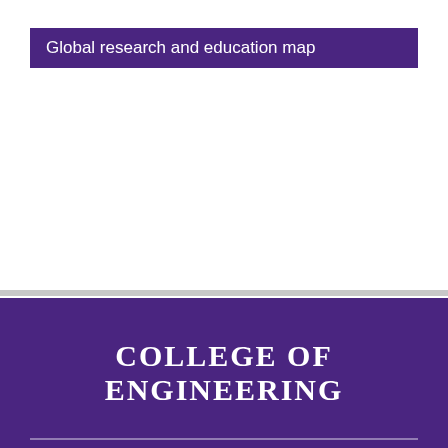Global research and education map
[Figure (map): World map showing global research and education connections - map content not visible (blank/white area)]
COLLEGE OF ENGINEERING